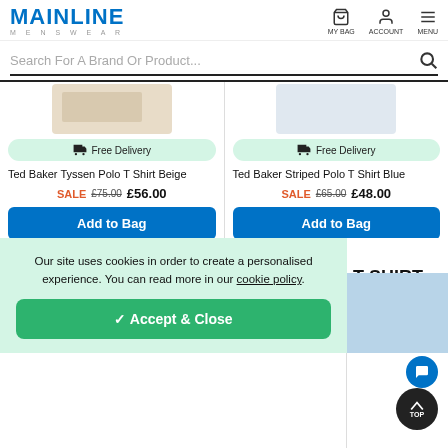MAINLINE MENSWEAR
Search For A Brand Or Product...
[Figure (screenshot): Product card for Ted Baker Tyssen Polo T Shirt Beige with Free Delivery badge, SALE price £56.00 (was £75.00), and Add to Bag button]
[Figure (screenshot): Product card for Ted Baker Striped Polo T Shirt Blue with Free Delivery badge, SALE price £48.00 (was £65.00), and Add to Bag button]
Our site uses cookies in order to create a personalised experience. You can read more in our cookie policy.
✓ Accept & Close